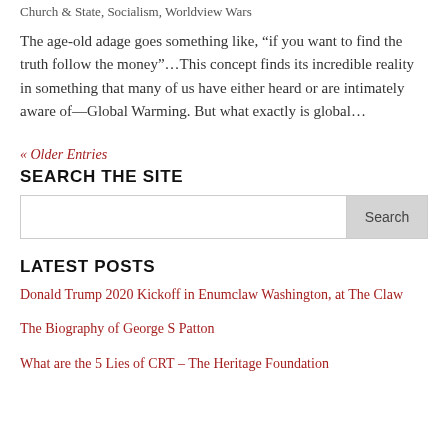Church & State, Socialism, Worldview Wars
The age-old adage goes something like, “if you want to find the truth follow the money”…This concept finds its incredible reality in something that many of us have either heard or are intimately aware of—Global Warming. But what exactly is global…
« Older Entries
SEARCH THE SITE
Search
LATEST POSTS
Donald Trump 2020 Kickoff in Enumclaw Washington, at The Claw
The Biography of George S Patton
What are the 5 Lies of CRT – The Heritage Foundation